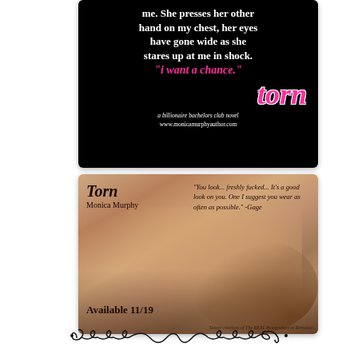[Figure (illustration): Book teaser image on black background with white bold text reading 'me. She presses her other hand on my chest, her eyes have gone wide as she stares up at me in shock.' followed by pink italic text '"i want a chance."' and large pink styled word 'torn' with subtitle 'a billionaire bachelors club novel' and website 'www.monicamurphyauthor.com']
[Figure (photo): Book promotion photo showing a woman lying down with curly hair and pearl necklace. Overlaid text: 'Torn / Monica Murphy' and quote '"You look... freshly fucked... It's a good look on you. One I suggest you wear as often as possible." -Gage' and 'Available 11/19' at bottom left. Small text at bottom: 'Teaser courtesy of The REAL Housewives of Romance']
[Figure (illustration): Decorative swirling ornamental divider line in black on white background]